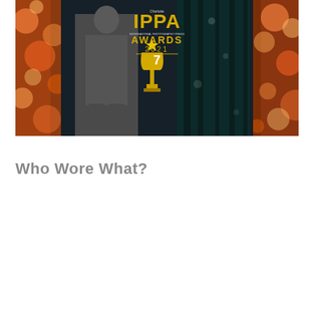[Figure (photo): Event photo showing a person standing at the IPPA Awards 2021 ceremony backdrop. The backdrop features warm amber/orange bokeh lights on the left and right sides, with a dark teal curtain in the center-right. The IPPA (International Photography Press Awards) 2021 logo is prominently displayed in gold in the center of the backdrop.]
Who Wore What?